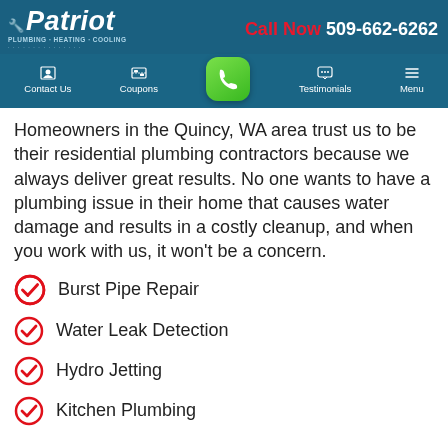Patriot | Call Now 509-662-6262 | Contact Us | Coupons | Testimonials | Menu
Homeowners in the Quincy, WA area trust us to be their residential plumbing contractors because we always deliver great results. No one wants to have a plumbing issue in their home that causes water damage and results in a costly cleanup, and when you work with us, it won't be a concern.
Burst Pipe Repair
Water Leak Detection
Hydro Jetting
Kitchen Plumbing